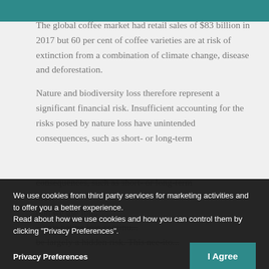The global coffee market had retail sales of $83 billion in 2017 but 60 per cent of coffee varieties are at risk of extinction from a combination of climate change, disease and deforestation.
Nature and biodiversity loss therefore represent a significant financial risk. Insufficient accounting for the risks posed by nature loss have unintended consequences, such as short- or long-term...
We use cookies from third party services for marketing activities and to offer you a better experience. Read about how we use cookies and how you can control them by clicking "Privacy Preferences".
Privacy Preferences
I Agree